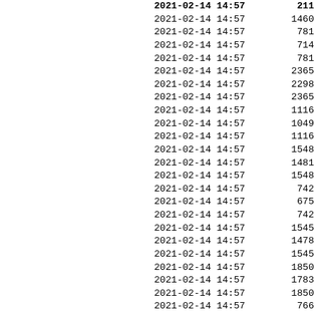| datetime | value |
| --- | --- |
| 2021-02-14 14:57 | 211... |
| 2021-02-14 14:57 | 1460 |
| 2021-02-14 14:57 | 781 |
| 2021-02-14 14:57 | 714 |
| 2021-02-14 14:57 | 781 |
| 2021-02-14 14:57 | 2365 |
| 2021-02-14 14:57 | 2298 |
| 2021-02-14 14:57 | 2365 |
| 2021-02-14 14:57 | 1116 |
| 2021-02-14 14:57 | 1049 |
| 2021-02-14 14:57 | 1116 |
| 2021-02-14 14:57 | 1548 |
| 2021-02-14 14:57 | 1481 |
| 2021-02-14 14:57 | 1548 |
| 2021-02-14 14:57 | 742 |
| 2021-02-14 14:57 | 675 |
| 2021-02-14 14:57 | 742 |
| 2021-02-14 14:57 | 1545 |
| 2021-02-14 14:57 | 1478 |
| 2021-02-14 14:57 | 1545 |
| 2021-02-14 14:57 | 1850 |
| 2021-02-14 14:57 | 1783 |
| 2021-02-14 14:57 | 1850 |
| 2021-02-14 14:57 | 766 |
| 2021-02-14 14:57 | 699 |
| 2021-02-14 14:57 | 766 |
| 2021-02-14 14:57 | 1010 |
| 2021-02-14 14:57 | 943 |
| 2021-02-14 14:57 | 1010 |
| 2021-02-14 14:57 | 748 |
| 2021-02-14 14:57 | 681 |